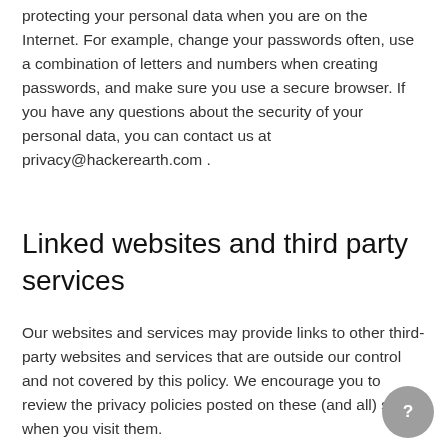protecting your personal data when you are on the Internet. For example, change your passwords often, use a combination of letters and numbers when creating passwords, and make sure you use a secure browser. If you have any questions about the security of your personal data, you can contact us at privacy@hackerearth.com .
Linked websites and third party services
Our websites and services may provide links to other third-party websites and services that are outside our control and not covered by this policy. We encourage you to review the privacy policies posted on these (and all) sites when you visit them.
Forums/Newsgroups
If you participate in a HackerEarth discussion foru...